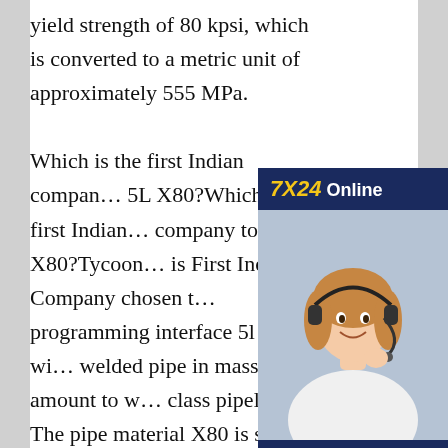yield strength of 80 kpsi, which is converted to a metric unit of approximately 555 MPa.

Which is the first Indian company to use 5L X80?Which is the first Indian company to use 5L X80?Tycoon is First Indian Company chosen to programming interface 5l x80 welded pipe in mass amount to world class pipeline. The pipe material X80 is suitable for unrestricted use in onshore applications.API 5L X80 PSL2 Seamless Pipe Suppliers, ISO3183 L555 api 5l x80
[Figure (other): Advertisement banner showing a woman wearing a headset with '7X24 Online' header in navy/gold, tagline 'Hello, may I help you?' and a 'Get Latest Price' button in yellow.]